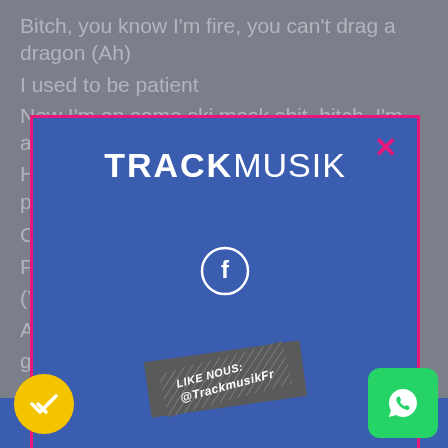Bitch, you know I'm fire, you can't drag a dragon (Ah)
I used to be patient
Now I'm on some ski mask shit, bitch, I'm anxious (Yeah)
Hoes talkin' cash shit, but can't make a pa[yment]
C[...
F[...
(Y[...
A[...
ge[t...
I'[m...
[Figure (screenshot): TrackMusik promotional overlay modal on blue background with Facebook like icon, 'LIKE NOUS: @TrackmusikFr' badge, close X button in pink, overlaying lyrics page. Bottom left has yellow circular checkmark button, bottom right has WhatsApp green button.]